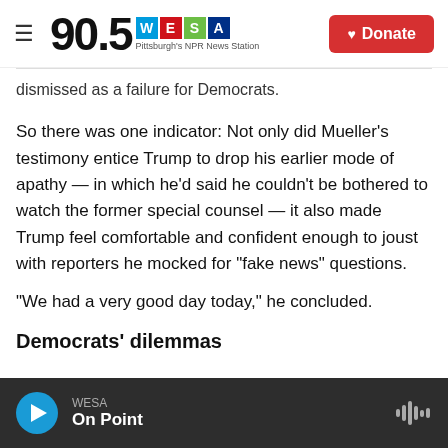90.5 WESA Pittsburgh's NPR News Station | Donate
dismissed as a failure for Democrats.
So there was one indicator: Not only did Mueller's testimony entice Trump to drop his earlier mode of apathy — in which he'd said he couldn't be bothered to watch the former special counsel — it also made Trump feel comfortable and confident enough to joust with reporters he mocked for "fake news" questions.
"We had a very good day today," he concluded.
Democrats' dilemmas
WESA On Point